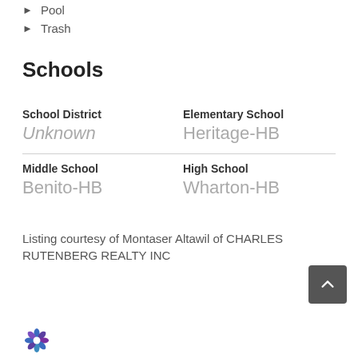Pool
Trash
Schools
| School District | Elementary School | Middle School | High School |
| --- | --- | --- | --- |
| Unknown | Heritage-HB | Benito-HB | Wharton-HB |
Listing courtesy of Montaser Altawil of CHARLES RUTENBERG REALTY INC
[Figure (logo): Stellarity or similar real estate company logo with blue/purple flower icon]